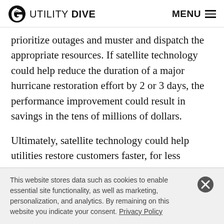UTILITY DIVE  MENU
prioritize outages and muster and dispatch the appropriate resources. If satellite technology could help reduce the duration of a major hurricane restoration effort by 2 or 3 days, the performance improvement could result in savings in the tens of millions of dollars.
Ultimately, satellite technology could help utilities restore customers faster, for less money, with improved customer communications. Often we find the first step for a utility
This website stores data such as cookies to enable essential site functionality, as well as marketing, personalization, and analytics. By remaining on this website you indicate your consent. Privacy Policy